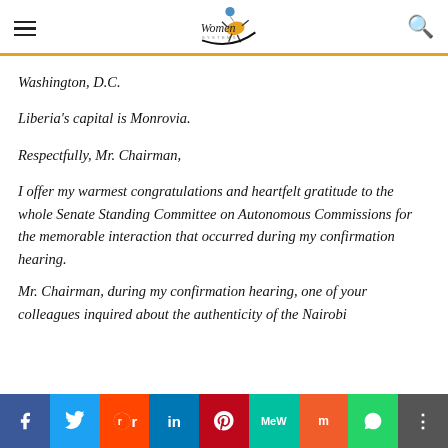Women [logo] header with hamburger menu and search icon
Washington, D.C.
Liberia's capital is Monrovia.
Respectfully, Mr. Chairman,
I offer my warmest congratulations and heartfelt gratitude to the whole Senate Standing Committee on Autonomous Commissions for the memorable interaction that occurred during my confirmation hearing.
Mr. Chairman, during my confirmation hearing, one of your colleagues inquired about the authenticity of the Nairobi
Social share bar: Facebook, Twitter, Reddit, LinkedIn, Pinterest, MeWe, Mix, WhatsApp, Share